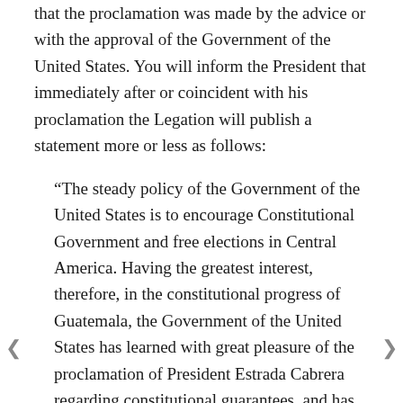that the proclamation was made by the advice or with the approval of the Government of the United States. You will inform the President that immediately after or coincident with his proclamation the Legation will publish a statement more or less as follows:
“The steady policy of the Government of the United States is to encourage Constitutional Government and free elections in Central America. Having the greatest interest, therefore, in the constitutional progress of Guatemala, the Government of the United States has learned with great pleasure of the proclamation of President Estrada Cabrera regarding constitutional guarantees, and has confidence, in view of the statements just made to this Government by President Estrada Cabrera, that he will faithfully carry out the reforms proclaimed.
The Government of the United States is opposed to revolutionary measures, and firmly believes that in view of President Estrada Cabrera’s proclamation there is no excuse for the starting of a revolutionary movement in Guatemala, and that, therefore, in the eyes of the civilized world, the